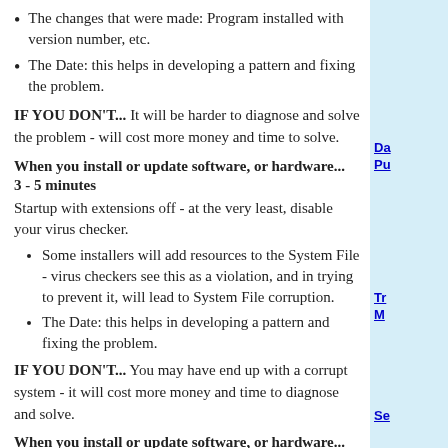The changes that were made: Program installed with version number, etc.
The Date: this helps in developing a pattern and fixing the problem.
IF YOU DON'T... It will be harder to diagnose and solve the problem - will cost more money and time to solve.
When you install or update software, or hardware...
3 - 5 minutes
Startup with extensions off - at the very least, disable your virus checker.
Some installers will add resources to the System File - virus checkers see this as a violation, and in trying to prevent it, will lead to System File corruption.
The Date: this helps in developing a pattern and fixing the problem.
IF YOU DON'T... You may have end up with a corrupt system - it will cost more money and time to diagnose and solve.
When you install or update software, or hardware...
5 - 15 minutes
After restarting, testing the newly installed software...
Da
Pu
Tr
M
Se